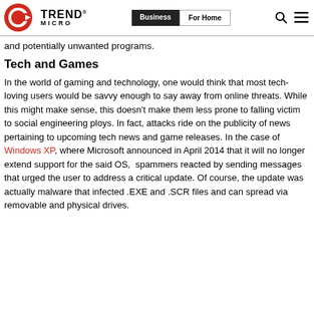Trend Micro | Business | For Home
and potentially unwanted programs.
Tech and Games
In the world of gaming and technology, one would think that most tech-loving users would be savvy enough to say away from online threats. While this might make sense, this doesn't make them less prone to falling victim to social engineering ploys. In fact, attacks ride on the publicity of news pertaining to upcoming tech news and game releases. In the case of Windows XP, where Microsoft announced in April 2014 that it will no longer extend support for the said OS,  spammers reacted by sending messages that urged the user to address a critical update. Of course, the update was actually malware that infected .EXE and .SCR files and can spread via removable and physical drives.